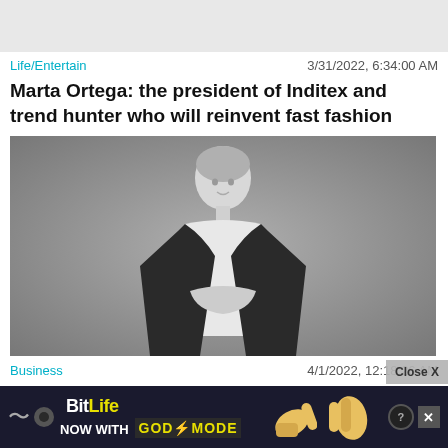[Figure (photo): Gray placeholder image at top of page]
Life/Entertain    3/31/2022, 6:34:00 AM
Marta Ortega: the president of Inditex and trend hunter who will reinvent fast fashion
[Figure (photo): Black and white photograph of Marta Ortega in a black blazer and white shirt, arms crossed]
Business    4/1/2022, 12:18:26 AM
Marta Ortega relieves Pablo Isla today without ceremony: a discreet profile for an...
[Figure (screenshot): BitLife advertisement banner: NOW WITH GOD MODE]